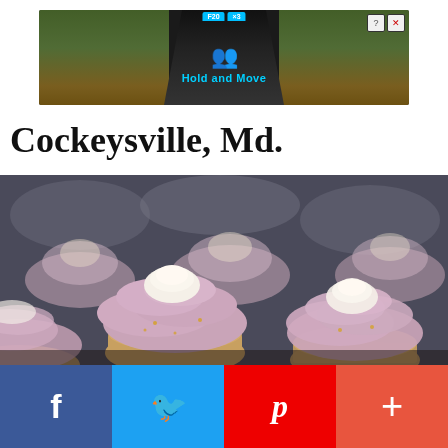[Figure (screenshot): Ad banner showing a game or app called Hold and Move with people icons and trees on dark background]
Cockeysville, Md.
[Figure (photo): Close-up photo of rows of cupcakes with pink/mauve frosting swirls topped with white cream, arranged in rows]
[Figure (infographic): Social sharing bar with Facebook, Twitter, Pinterest, and plus buttons]